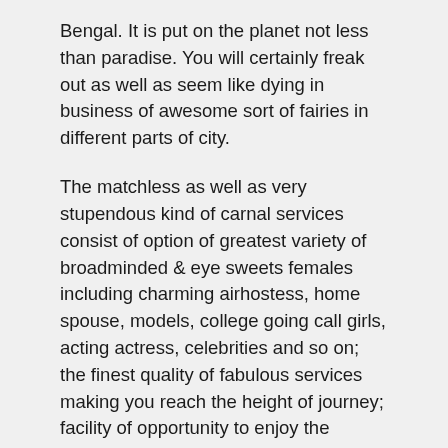Bengal. It is put on the planet not less than paradise. You will certainly freak out as well as seem like dying in business of awesome sort of fairies in different parts of city.
The matchless as well as very stupendous kind of carnal services consist of option of greatest variety of broadminded & eye sweets females including charming airhostess, home spouse, models, college going call girls, acting actress, celebrities and so on; the finest quality of fabulous services making you reach the height of journey; facility of opportunity to enjoy the majority of different sort of physically pleasing activities; professionalism and trust of unbeaten course; security & confidentiality of personal or business